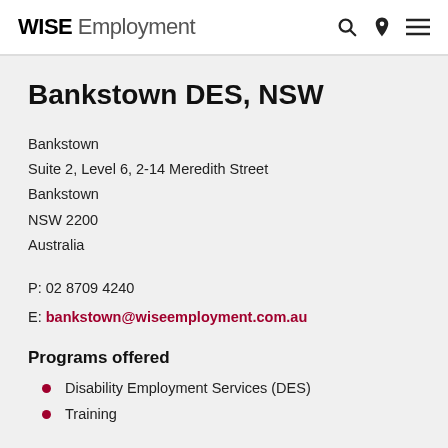WISE Employment
Bankstown DES, NSW
Bankstown
Suite 2, Level 6, 2-14 Meredith Street
Bankstown
NSW 2200
Australia
P: 02 8709 4240
E: bankstown@wiseemployment.com.au
Programs offered
Disability Employment Services (DES)
Training